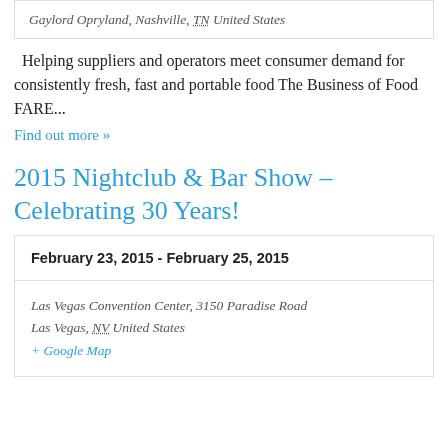Gaylord Opryland, Nashville, TN United States
Helping suppliers and operators meet consumer demand for consistently fresh, fast and portable food The Business of Food FARE...
Find out more »
2015 Nightclub & Bar Show – Celebrating 30 Years!
February 23, 2015 - February 25, 2015
Las Vegas Convention Center, 3150 Paradise Road Las Vegas, NV United States + Google Map